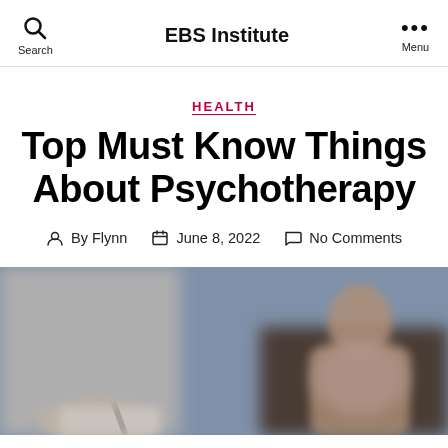EBS Institute
HEALTH
Top Must Know Things About Psychotherapy
By Flynn  June 8, 2022  No Comments
[Figure (photo): A blurred photo of a therapy session: a person writing on a notepad in the foreground and another person sitting on a couch in the background.]